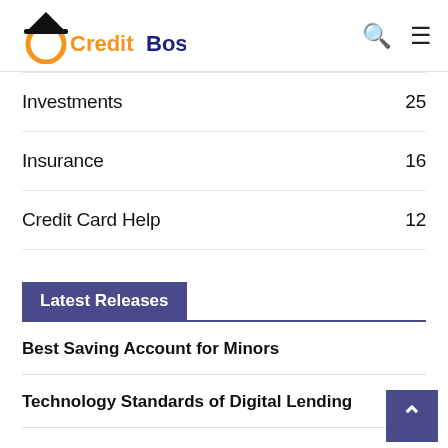Credit Boss
Investments 25
Insurance 16
Credit Card Help 12
Latest Releases
Best Saving Account for Minors
Technology Standards of Digital Lending
Rules to stop Debt Traps by CFPB, USA
Regulatory Policy Approach to Digital Lending
Legal Aspects or feedback from Stakeholders